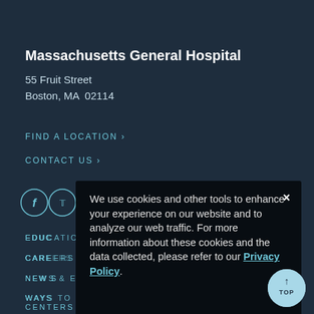Massachusetts General Hospital
55 Fruit Street
Boston, MA  02114
FIND A LOCATION ›
CONTACT US ›
[Figure (infographic): Row of social media icons: Facebook, Twitter, LinkedIn, Instagram, YouTube — circular outlines]
EDUCATION ›
CAREERS ›
NEWS & EVENTS ›
WAYS TO GIVE ›
We use cookies and other tools to enhance your experience on our website and to analyze our web traffic. For more information about these cookies and the data collected, please refer to our Privacy Policy.
CENTERS & DEPARTMENTS ›